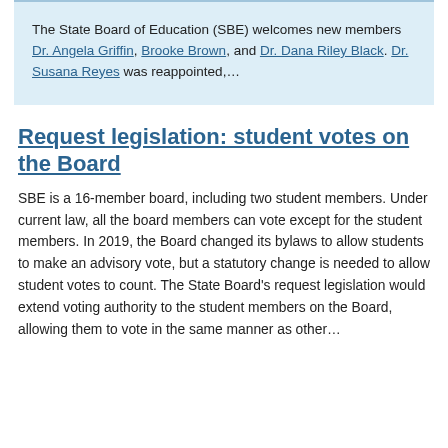The State Board of Education (SBE) welcomes new members Dr. Angela Griffin, Brooke Brown, and Dr. Dana Riley Black. Dr. Susana Reyes was reappointed,...
Request legislation: student votes on the Board
SBE is a 16-member board, including two student members. Under current law, all the board members can vote except for the student members. In 2019, the Board changed its bylaws to allow students to make an advisory vote, but a statutory change is needed to allow student votes to count. The State Board's request legislation would extend voting authority to the student members on the Board, allowing them to vote in the same manner as other...